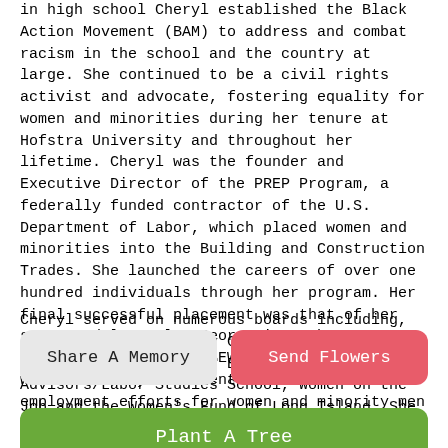in high school Cheryl established the Black Action Movement (BAM) to address and combat racism in the school and the country at large. She continued to be a civil rights activist and advocate, fostering equality for women and minorities during her tenure at Hofstra University and throughout her lifetime. Cheryl was the founder and Executive Director of the PREP Program, a federally funded contractor of the U.S. Department of Labor, which placed women and minorities into the Building and Construction Trades. She launched the careers of over one hundred individuals through her program. Her final successful placement was that of her son, Mandela-Smyler-George into the electrician's union IBEW, Local 25. Cheryl was honored by President Clinton for her employment efforts for women and minority men throughout Long Island and the five boroughs of New York City.
Cheryl served on numerous boards including, the Hofstra University Center for the Study of Labor and Democracy Board of Advisors/Labor Studies School, Women on the Job and the Women's Fund of Long Island. She was the facilitator of the
Share A Memory
Send Flowers
Plant A Tree